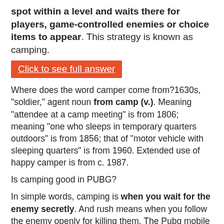spot within a level and waits there for players, game-controlled enemies or choice items to appear. This strategy is known as camping.
Click to see full answer
Where does the word camper come from?1630s, "soldier," agent noun from camp (v.). Meaning "attendee at a camp meeting" is from 1806; meaning "one who sleeps in temporary quarters outdoors" is from 1856; that of "motor vehicle with sleeping quarters" is from 1960. Extended use of happy camper is from c. 1987.
Is camping good in PUBG?
In simple words, camping is when you wait for the enemy secretly. And rush means when you follow the enemy openly for killing them. The Pubg mobile campers choose a safe location and make plans and